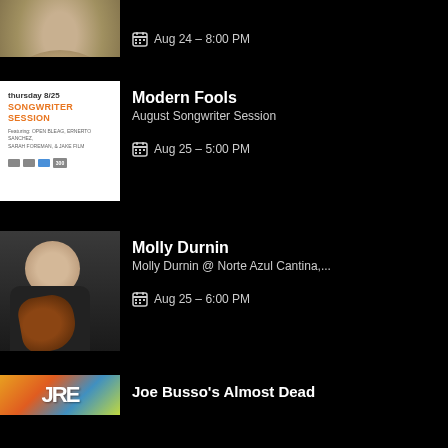[Figure (photo): Partial view of a woman with flowers, cropped at top]
Aug 24 – 8:00 PM
Modern Fools
August Songwriter Session
Aug 25 – 5:00 PM
[Figure (photo): Woman sitting with acoustic guitar]
Molly Durnin
Molly Durnin @ Norte Azul Cantina,...
Aug 25 – 6:00 PM
[Figure (photo): Colorful logo/graphic partial view]
Joe Busso's Almost Dead